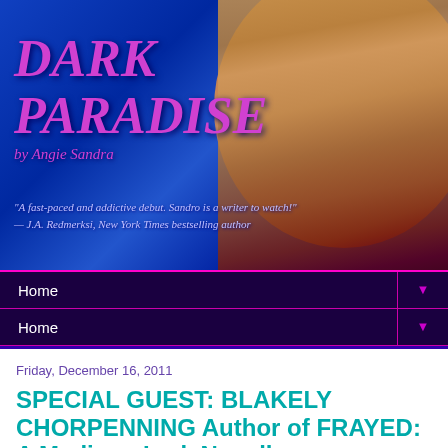[Figure (illustration): Book cover for 'Dark Paradise by Angie Sandra' showing a woman with intense gaze against a blue water background, with pink/magenta italic title text. Quote: 'A fast-paced and addictive debut. Sandro is a writer to watch!' — J.A. Redmerksi, New York Times bestselling author]
Home ▼
Home ▼
Friday, December 16, 2011
SPECIAL GUEST: BLAKELY CHORPENNING Author of FRAYED: A Madison Lark Novella